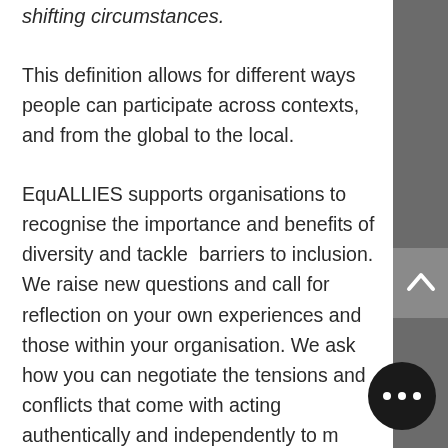shifting circumstances.
This definition allows for different ways people can participate across contexts, and from the global to the local.
EquALLIES supports organisations to recognise the importance and benefits of diversity and tackle  barriers to inclusion. We raise new questions and call for reflection on your own experiences and those within your organisation. We ask how you can negotiate the tensions and conflicts that come with acting authentically and independently to meet the shared outcomes of your team.